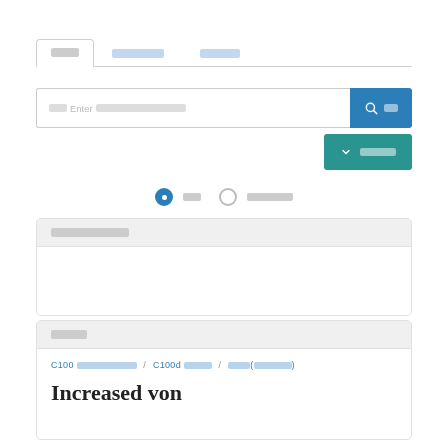[Figure (screenshot): Tab navigation bar with three tab buttons, the first tab is active/selected with a white background and border styling. Tabs contain redacted/placeholder text shown as grey blocks.]
[Figure (screenshot): Search input field with placeholder text containing 'Enter' and other redacted text, next to a blue search button with magnifying glass icon and redacted label, and a teal advanced search button with chevron icon and redacted label below.]
[Figure (screenshot): Radio button row with two options: first is selected (filled blue circle) with redacted label, second is empty circle with redacted label.]
[Figure (screenshot): Grey-header panel with redacted header text and empty white body area.]
[Figure (screenshot): Second panel with redacted header text, containing a result card with breadcrumb navigation showing: C100 [redacted] / C100d [redacted] / [redacted]([redacted]), and large bold title text 'Increased von']